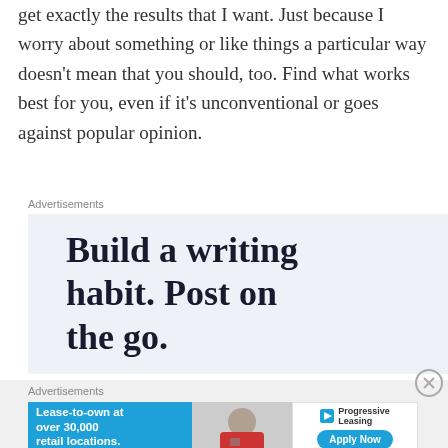get exactly the results that I want. Just because I worry about something or like things a particular way doesn't mean that you should, too. Find what works best for you, even if it's unconventional or goes against popular opinion.
Advertisements
[Figure (infographic): Advertisement banner with light blue background and bold text reading: Build a writing habit. Post on the go.]
[Figure (other): Close/dismiss button (circled X) for advertisement]
Advertisements
[Figure (infographic): Progressive Leasing advertisement banner. Left blue section: 'Lease-to-own at over 30,000 retail locations.' Center: photo of smiling person holding device. Right: Progressive Leasing logo and 'Apply Now' button.]